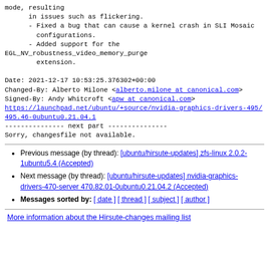mode, resulting
        in issues such as flickering.
      - Fixed a bug that can cause a kernel crash in SLI Mosaic
        configurations.
      - Added support for the
EGL_NV_robustness_video_memory_purge
        extension.
Date: 2021-12-17 10:53:25.376302+00:00
Changed-By: Alberto Milone <alberto.milone at canonical.com>
Signed-By: Andy Whitcroft <apw at canonical.com>
https://launchpad.net/ubuntu/+source/nvidia-graphics-drivers-495/495.46-0ubuntu0.21.04.1
--------------- next part ---------------
Sorry, changesfile not available.
Previous message (by thread): [ubuntu/hirsute-updates] zfs-linux 2.0.2-1ubuntu5.4 (Accepted)
Next message (by thread): [ubuntu/hirsute-updates] nvidia-graphics-drivers-470-server 470.82.01-0ubuntu0.21.04.2 (Accepted)
Messages sorted by: [ date ] [ thread ] [ subject ] [ author ]
More information about the Hirsute-changes mailing list